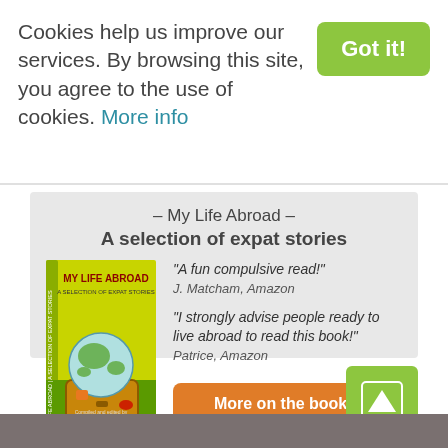Cookies help us improve our services. By browsing this site, you agree to the use of cookies. More info
Got it!
– My Life Abroad – A selection of expat stories
[Figure (illustration): Book cover of 'My Life Abroad – A Selection of Expat Stories', yellow and green cover with a globe sitting in a suitcase.]
"A fun compulsive read!" J. Matcham, Amazon
"I strongly advise people ready to live abroad to read this book!" Patrice, Amazon
More on the book >